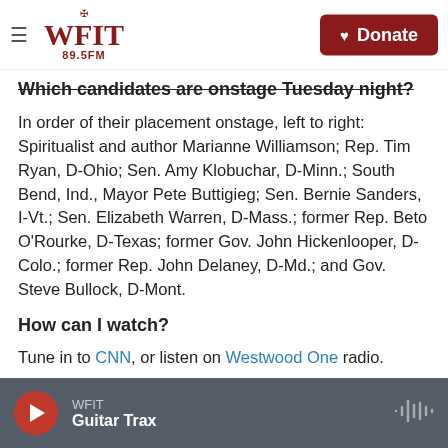WFIT 89.5FM | Donate
Which candidates are onstage Tuesday night?
In order of their placement onstage, left to right: Spiritualist and author Marianne Williamson; Rep. Tim Ryan, D-Ohio; Sen. Amy Klobuchar, D-Minn.; South Bend, Ind., Mayor Pete Buttigieg; Sen. Bernie Sanders, I-Vt.; Sen. Elizabeth Warren, D-Mass.; former Rep. Beto O'Rourke, D-Texas; former Gov. John Hickenlooper, D-Colo.; former Rep. John Delaney, D-Md.; and Gov. Steve Bullock, D-Mont.
How can I watch?
Tune in to CNN, or listen on Westwood One radio.
WFIT | Guitar Trax